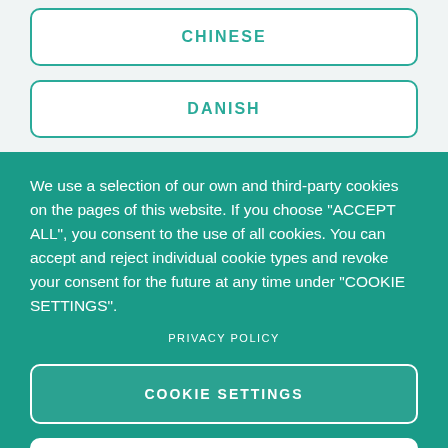CHINESE
DANISH
We use a selection of our own and third-party cookies on the pages of this website. If you choose "ACCEPT ALL", you consent to the use of all cookies. You can accept and reject individual cookie types and revoke your consent for the future at any time under "COOKIE SETTINGS".
PRIVACY POLICY
COOKIE SETTINGS
DENY ALL
ACCEPT ALL